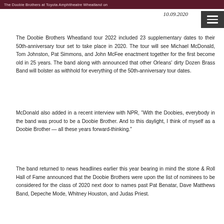The Doobie Brothers at Toyota Amphitheatre Wheatland on
10.09.2020
The Doobie Brothers Wheatland tour 2022 included 23 supplementary dates to their 50th-anniversary tour set to take place in 2020. The tour will see Michael McDonald, Tom Johnston, Pat Simmons, and John McFee enactment together for the first become old in 25 years. The band along with announced that other Orleans' dirty Dozen Brass Band will bolster as withhold for everything of the 50th-anniversary tour dates.
McDonald also added in a recent interview with NPR, “With the Doobies, everybody in the band was proud to be a Doobie Brother. And to this daylight, I think of myself as a Doobie Brother — all these years forward-thinking.”
The band returned to news headlines earlier this year bearing in mind the stone & Roll Hall of Fame announced that the Doobie Brothers were upon the list of nominees to be considered for the class of 2020 next door to names past Pat Benatar, Dave Matthews Band, Depeche Mode, Whitney Houston, and Judas Priest.